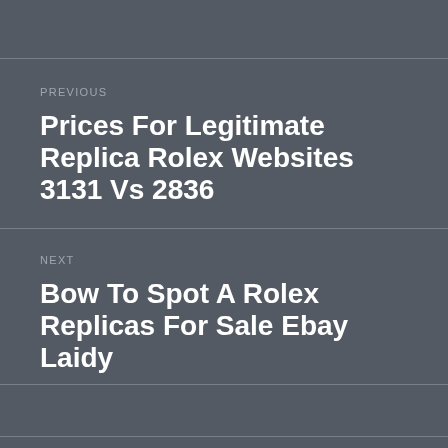PREVIOUS
Prices For Legitimate Replica Rolex Websites 3131 Vs 2836
NEXT
Bow To Spot A Rolex Replicas For Sale Ebay Laidy